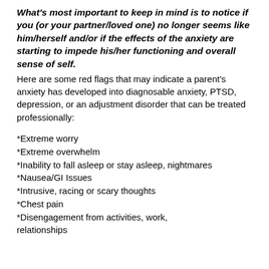What's most important to keep in mind is to notice if you (or your partner/loved one) no longer seems like him/herself and/or if the effects of the anxiety are starting to impede his/her functioning and overall sense of self.
Here are some red flags that may indicate a parent's anxiety has developed into diagnosable anxiety, PTSD, depression, or an adjustment disorder that can be treated professionally:
*Extreme worry
*Extreme overwhelm
*Inability to fall asleep or stay asleep, nightmares
*Nausea/GI Issues
*Intrusive, racing or scary thoughts
*Chest pain
*Disengagement from activities, work, relationships